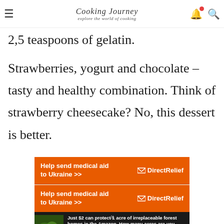Cooking Journey — explore the world of cooking
2,5 teaspoons of gelatin.
Strawberries, yogurt and chocolate – tasty and healthy combination. Think of strawberry cheesecake? No, this dessert is better.
[Figure (screenshot): Two orange Direct Relief banner ads saying 'Help send medical aid to Ukraine >>' with Direct Relief logo, followed by a forest conservation ad saying 'Just $2 can protect 1 acre of irreplaceable forest homes in the Amazon. How many acres are you willing to protect?' with a green 'PROTECT FORESTS NOW' button.]